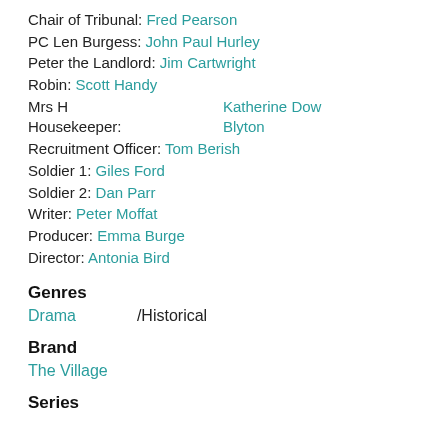Chair of Tribunal: Fred Pearson
PC Len Burgess: John Paul Hurley
Peter the Landlord: Jim Cartwright
Robin: Scott Handy
Mrs H Housekeeper: Katherine Dow Blyton
Recruitment Officer: Tom Berish
Soldier 1: Giles Ford
Soldier 2: Dan Parr
Writer: Peter Moffat
Producer: Emma Burge
Director: Antonia Bird
Genres
Drama / Historical
Brand
The Village
Series